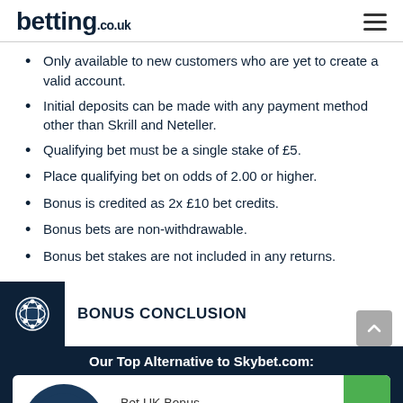betting.co.uk
Only available to new customers who are yet to create a valid account.
Initial deposits can be made with any payment method other than Skrill and Neteller.
Qualifying bet must be a single stake of £5.
Place qualifying bet on odds of 2.00 or higher.
Bonus is credited as 2x £10 bet credits.
Bonus bets are non-withdrawable.
Bonus bet stakes are not included in any returns.
BONUS CONCLUSION
Our Top Alternative to Skybet.com:
Bet UK Bonus
Bet £10 Get £30
T&Cs apply. 18+